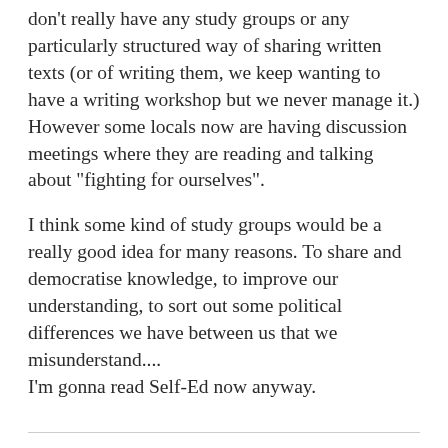don't really have any study groups or any particularly structured way of sharing written texts (or of writing them, we keep wanting to have a writing workshop but we never manage it.) However some locals now are having discussion meetings where they are reading and talking about "fighting for ourselves".
I think some kind of study groups would be a really good idea for many reasons. To share and democratise knowledge, to improve our understanding, to sort out some political differences we have between us that we misunderstand....
I'm gonna read Self-Ed now anyway.